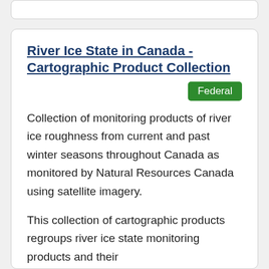River Ice State in Canada - Cartographic Product Collection
Federal
Collection of monitoring products of river ice roughness from current and past winter seasons throughout Canada as monitored by Natural Resources Canada using satellite imagery.
This collection of cartographic products regroups river ice state monitoring products and their